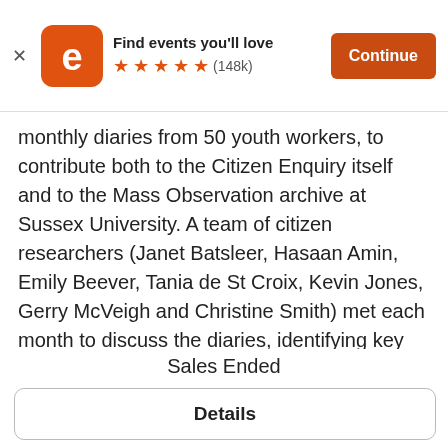[Figure (screenshot): Eventbrite app banner with orange logo, 'Find events you'll love' text, five orange stars rating, (148k) reviews, and orange 'Continue' button]
monthly diaries from 50 youth workers, to contribute both to the Citizen Enquiry itself and to the Mass Observation archive at Sussex University. A team of citizen researchers (Janet Batsleer, Hasaan Amin, Emily Beever, Tania de St Croix, Kevin Jones, Gerry McVeigh and Christine Smith) met each month to discuss the diaries, identifying key themes, commonalities and divergence. We have done this in a personal and volunteer capacity, from the grassroots, as citizens in order to capture and record for the archive a sense of what is is like to be a youth worker at this time, as part of the wider study of the everyday
Sales Ended
Details